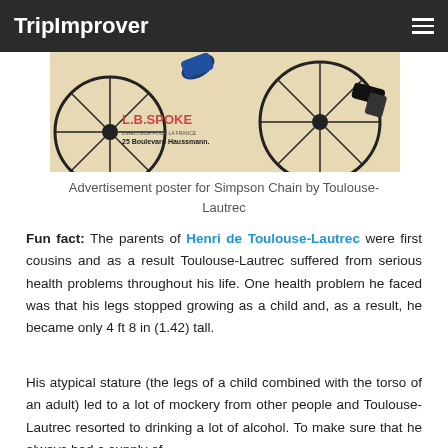TripImprover
[Figure (photo): Advertisement poster for Simpson Chain by Toulouse-Lautrec showing bicycle wheels and text 'L.B. SPOKE Directeur Pour La France 25 Boulevard Haussmann']
Advertisement poster for Simpson Chain by Toulouse-Lautrec
Fun fact: The parents of Henri de Toulouse-Lautrec were first cousins and as a result Toulouse-Lautrec suffered from serious health problems throughout his life. One health problem he faced was that his legs stopped growing as a child and, as a result, he became only 4 ft 8 in (1.42) tall.
His atypical stature (the legs of a child combined with the torso of an adult) led to a lot of mockery from other people and Toulouse-Lautrec resorted to drinking a lot of alcohol. To make sure that he always had a supply of